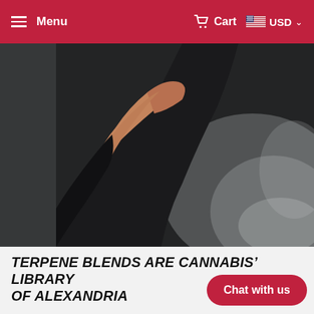Menu   Cart   USD
[Figure (photo): Close-up photo of a person's hand/wrist wearing a dark jacket sleeve, with smoky grey background]
TERPENE BLENDS ARE CANNABIS' LIBRARY OF ALEXANDRIA
While it's not the same as intimately growing a plant or smoking it and experiencing its benefits firsthand, terpene profiles are the next closest thing to recreating past evolutions, variants, and even extinct strains that are no...